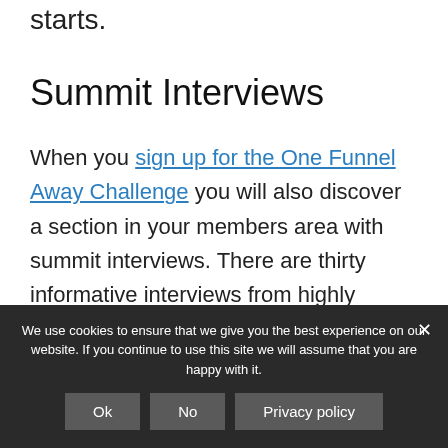starts.
Summit Interviews
When you sign up for the One Funnel Away Challenge you will also discover a section in your members area with summit interviews. There are thirty informative interviews from highly
We use cookies to ensure that we give you the best experience on our website. If you continue to use this site we will assume that you are happy with it.